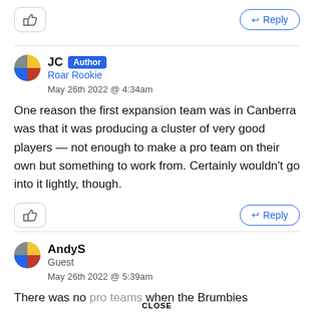[Figure (other): Like button (thumbs up icon) and Reply button at top of page]
JC Author
Roar Rookie
May 26th 2022 @ 4:34am

One reason the first expansion team was in Canberra was that it was producing a cluster of very good players — not enough to make a pro team on their own but something to work from. Certainly wouldn't go into it lightly, though.
[Figure (other): Like button and Reply button below JC comment]
AndyS
Guest
May 26th 2022 @ 5:39am

There was no pro teams when the Brumbies
CLOSE